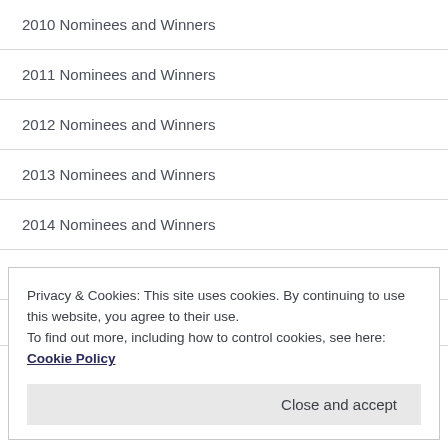2010 Nominees and Winners
2011 Nominees and Winners
2012 Nominees and Winners
2013 Nominees and Winners
2014 Nominees and Winners
2015 Nominees and Winners
Dragon Prize
Privacy & Cookies: This site uses cookies. By continuing to use this website, you agree to their use.
To find out more, including how to control cookies, see here: Cookie Policy